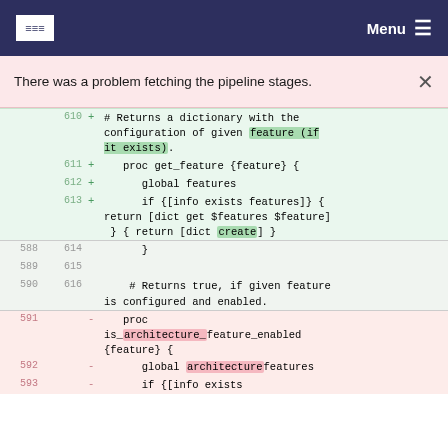CSC Logo | Menu
There was a problem fetching the pipeline stages. ×
610 + # Returns a dictionary with the configuration of given feature (if it exists).
611 + proc get_feature {feature} {
612 + global features
613 + if {[info exists features]} { return [dict get $features $feature] } { return [dict create] }
588 614 }
589 615
590 616 # Returns true, if given feature is configured and enabled.
591 - proc is_architecture_feature_enabled {feature} {
592 - global architecturefeatures
593 - if {[info exists